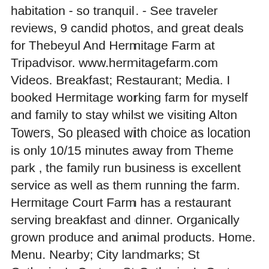habitation - so tranquil. - See traveler reviews, 9 candid photos, and great deals for Thebeyul And Hermitage Farm at Tripadvisor. www.hermitagefarm.com Videos. Breakfast; Restaurant; Media. I booked Hermitage working farm for myself and family to stay whilst we visiting Alton Towers, So pleased with choice as location is only 10/15 minutes away from Theme park , the family run business is excellent service as well as them running the farm. Hermitage Court Farm has a restaurant serving breakfast and dinner. Organically grown produce and animal products. Home. Menu. Nearby; City landmarks; St Catherine's Oratory St Catherine's Oratory 1.1 km Ventnor PO38 2JB. The village is focussed residentially on the B4009, 5 miles (8.0 km) north east of Newbury in the heart of the North Wessex Downs, an Area of Outstanding Natural Beauty. Known for its world-class equine